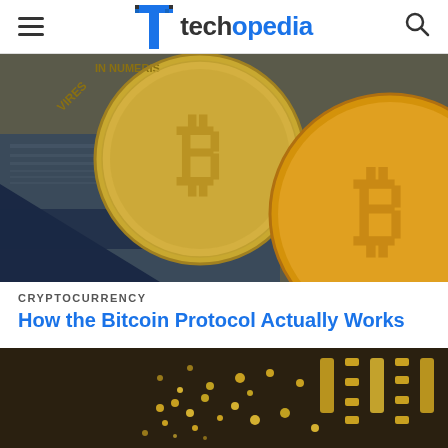techopedia
[Figure (photo): Close-up photo of gold Bitcoin cryptocurrency coins with text 'VIRES IN NUMERIS' on one coin, with a US dollar bill and another gold Bitcoin coin in the background]
CRYPTOCURRENCY
How the Bitcoin Protocol Actually Works
[Figure (photo): Close-up photo of gold binary/digital code pattern on a surface, representing cryptocurrency or blockchain technology]